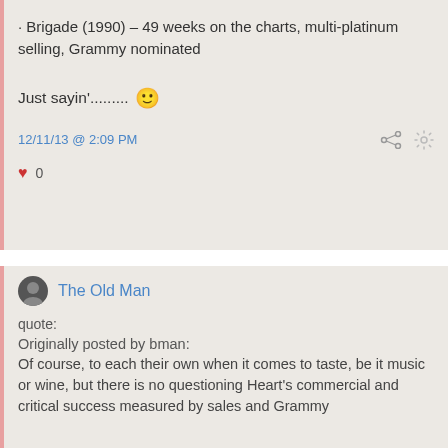· Brigade (1990) – 49 weeks on the charts, multi-platinum selling, Grammy nominated
Just sayin'......... 🙂
12/11/13 @ 2:09 PM
♥ 0
The Old Man
quote:
Originally posted by bman:
Of course, to each their own when it comes to taste, be it music or wine, but there is no questioning Heart's commercial and critical success measured by sales and Grammy